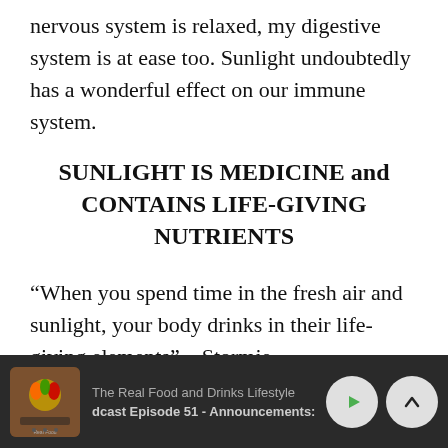nervous system is relaxed, my digestive system is at ease too. Sunlight undoubtedly has a wonderful effect on our immune system.
SUNLIGHT IS MEDICINE and CONTAINS LIFE-GIVING NUTRIENTS
“When you spend time in the fresh air and sunlight, your body drinks in their life-giving elements” – Stormie
The Real Food and Drinks Lifestyle | dcast Episode 51 - Announcements: